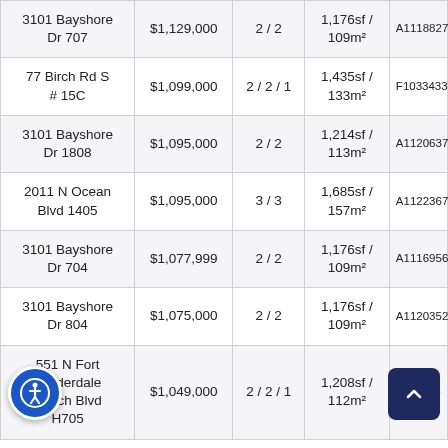| Address | Price | Bed/Bath | Size | ID |
| --- | --- | --- | --- | --- |
| 3101 Bayshore Dr 707 | $1,129,000 | 2 / 2 | 1,176sf / 109m² | A11188279 |
| 77 Birch Rd S # 15C | $1,099,000 | 2 / 2 / 1 | 1,435sf / 133m² | F10334333 |
| 3101 Bayshore Dr 1808 | $1,095,000 | 2 / 2 | 1,214sf / 113m² | A11206379 |
| 2011 N Ocean Blvd 1405 | $1,095,000 | 3 / 3 | 1,685sf / 157m² | A11223679 |
| 3101 Bayshore Dr 704 | $1,077,999 | 2 / 2 | 1,176sf / 109m² | A11169560 |
| 3101 Bayshore Dr 804 | $1,075,000 | 2 / 2 | 1,176sf / 109m² | A11203522 |
| 551 N Fort Lauderdale Beach Blvd H705 | $1,049,000 | 2 / 2 / 1 | 1,208sf / 112m² | A112555 |